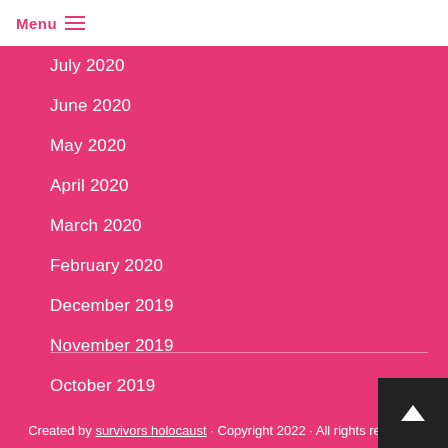Menu
July 2020
June 2020
May 2020
April 2020
March 2020
February 2020
December 2019
November 2019
October 2019
Created by survivors holocaust · Copyright 2022 · All rights reserved